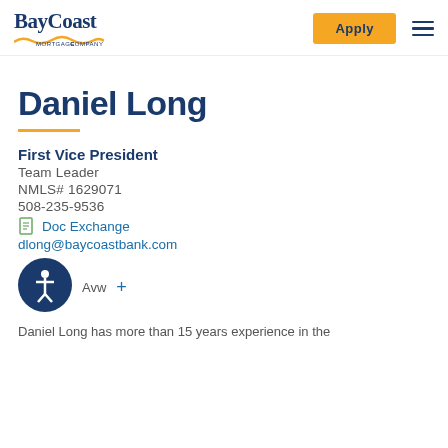BayCoast Mortgage Company - Apply
Daniel Long
First Vice President
Team Leader
NMLS# 1629071
508-235-9536
Doc Exchange
dlong@baycoastbank.com
Daniel Long has more than 15 years experience in the